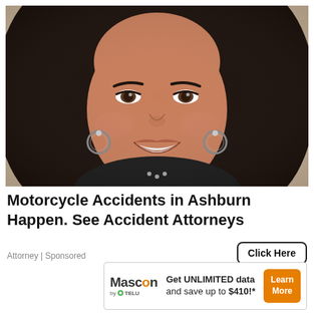[Figure (photo): Close-up portrait photo of a smiling brunette woman with long dark hair, wearing hoop earrings, against a blurred stone/brick background]
Motorcycle Accidents in Ashburn Happen. See Accident Attorneys
Attorney | Sponsored
[Figure (other): Click Here button with rounded border]
[Figure (other): Scroll to top circular dark button with upward chevron arrow]
[Figure (infographic): Mascon by TELUS advertisement banner: Get UNLIMITED data and save up to $410!* with Learn More orange button]